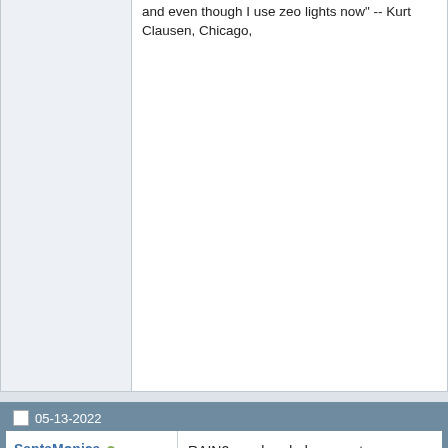"You won't be disappointed the quality set up and producing you might even I'm actually so impressed with the res for my 120" IronVulture on the R2R si
"Very happy with it. Nice build quality"
"very slick. I will say this, so far, it's be to clean on my tank. And very silent w on the r2r site
"My RAIN2 is really taking off with gro plugged in, and even though I use zeo lights now" -- Kurt Clausen, Chicago,
05-13-2022
SantaMonica
Administrator
| Join Date: | Oct 2008 |
| Location: | Santa Monica, CA, USA |
| Posts: | 10,323 |
RAIN2 one-handed access to screen
[Figure (photo): Photo of an orange tube/pipe against green aquarium algae scrubber material with blue lighting in the background]